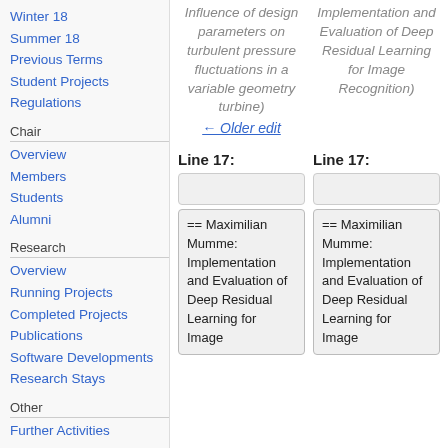Winter 18
Summer 18
Previous Terms
Student Projects
Regulations
Chair
Overview
Members
Students
Alumni
Research
Overview
Running Projects
Completed Projects
Publications
Software Developments
Research Stays
Other
Further Activities
Impressum
Influence of design parameters on turbulent pressure fluctuations in a variable geometry turbine)
Implementation and Evaluation of Deep Residual Learning for Image Recognition)
← Older edit
Line 17:
Line 17:
== Maximilian Mumme: Implementation and Evaluation of Deep Residual Learning for Image
== Maximilian Mumme: Implementation and Evaluation of Deep Residual Learning for Image